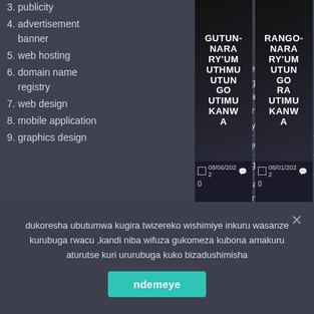3. publicity
4. advertisement banner
5. web hosting
6. domain name registry
7. web design
8. mobile application
9. graphics design
Dukore
nyabugogo mu
nkundamahoro
modern market
etage ya gatatu

nyarugenge district

nyabugogo  cell

inkundamahoro
modern market

Email:journalimena@gmail.com
[Figure (screenshot): Two dark image cards side by side showing text 'GUTUN-NARA RY'UM UTHMU UTUN GO UTIMU KANW A' with dates 08/06/2022 and 08/01/2022 and comment counts of 0]
dukoresha ubutumwa kugira twizereko wishimiye inkuru wasanze kurubuga rwacu ,kandi niba wifuza gukomeza kubona amakuru aturutse kuri ururubuga kuko bizadushimisha
ndemeye